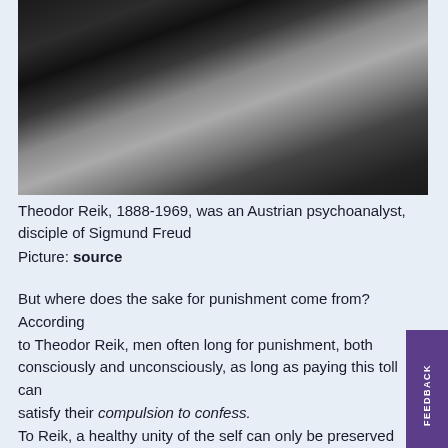[Figure (photo): Black and white photograph of Theodor Reik, partially cropped, showing upper body and face against a dark background]
Theodor Reik, 1888-1969, was an Austrian psychoanalyst, disciple of Sigmund Freud
Picture: source
But where does the sake for punishment come from? According to Theodor Reik, men often long for punishment, both consciously and unconsciously, as long as paying this toll can satisfy their compulsion to confess. To Reik, a healthy unity of the self can only be preserved when one has the chance to claim back each single of their actions, take agency for them and check that they are still part of a group, even when there is a reckoning pending on their belonging to a society.